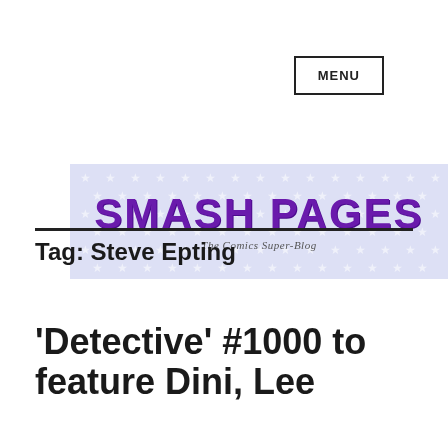MENU
[Figure (logo): Smash Pages - The Comics Super-Blog logo banner with purple text on light blue star-patterned background]
Tag: Steve Epting
'Detective' #1000 to feature Dini, Lee...